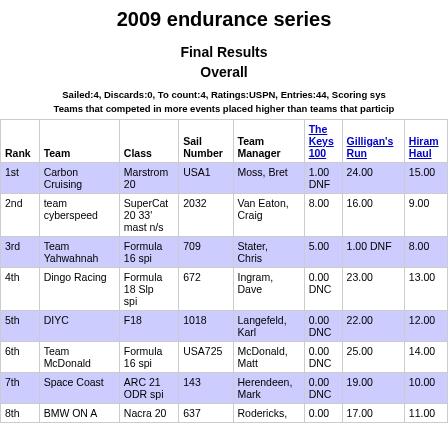2009 endurance series
Final Results
Overall
Sailed:4, Discards:0, To count:4, Ratings:USPN, Entries:44, Scoring sys... Teams that competed in more events placed higher than teams that particip...
| Rank | Team | Class | Sail Number | Team Manager | The Keys 100 | Gilligan's Run | Hiram Haul |
| --- | --- | --- | --- | --- | --- | --- | --- |
| 1st | Carbon Cruising | Marstrom 20 | USA1 | Moss, Bret | 1.00 DNF | 24.00 | 15.00 |
| 2nd | team cyberspeed | SuperCat 20 33' mast n/s | 2032 | Van Eaton, Craig | 8.00 | 16.00 | 9.00 |
| 3rd | Team Yahwahnah | Formula 16 spi | 709 | Stater, Chris | 5.00 | 1.00 DNF | 8.00 |
| 4th | Dingo Racing | Formula 18 Slp spi | 672 | Ingram, Dave | 0.00 DNC | 23.00 | 13.00 |
| 5th | DIYC | F18 | 1018 | Langefeld, Karl | 0.00 DNC | 22.00 | 12.00 |
| 6th | Team McDonald | Formula 16 spi | USA725 | McDonald, Matt | 0.00 DNC | 25.00 | 14.00 |
| 7th | Space Coast | ARC 21 ODR spi | 143 | Herendeen, Mark | 0.00 DNC | 19.00 | 10.00 |
| 8th | BMW ON A | Nacra 20 | 637 | Rodericks, | 0.00 | 17.00 | 11.00 |